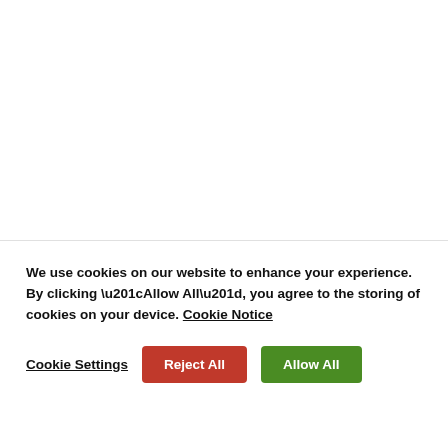We use cookies on our website to enhance your experience. By clicking “Allow All”, you agree to the storing of cookies on your device. Cookie Notice
Cookie Settings | Reject All | Allow All